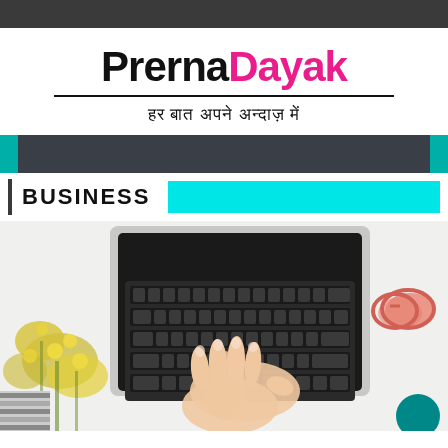PrernaDayak - हर बात अपने अन्दाज़ में
BUSINESS
[Figure (photo): Top-down view of a woman's hands typing on a laptop keyboard, with yellow flowers on the left and pink sunglasses and a teal circle on the right, on a white surface.]